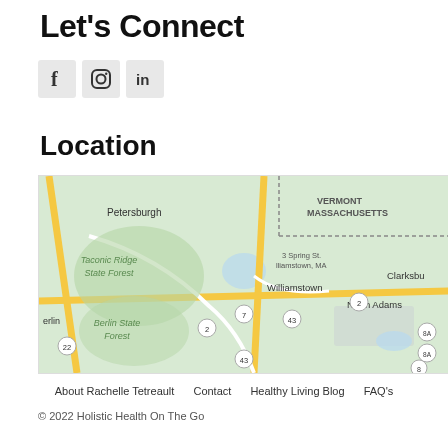Let's Connect
[Figure (infographic): Social media icons: Facebook (f), Instagram (circle with camera icon), LinkedIn (in) — each in a grey square box]
Location
[Figure (map): Google Maps showing Williamstown, MA area with Taconic Ridge State Forest, Berlin State Forest, Petersburgh, North Adams, Clarksburg, Vermont/Massachusetts border, and route numbers 2, 7, 43, 22, 8, 8A visible.]
About Rachelle Tetreault   Contact   Healthy Living Blog   FAQ's
© 2022 Holistic Health On The Go